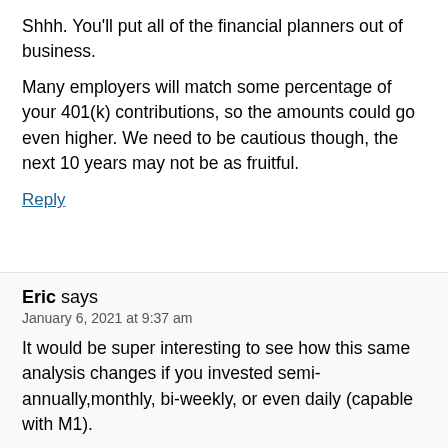Shhh. You'll put all of the financial planners out of business.
Many employers will match some percentage of your 401(k) contributions, so the amounts could go even higher. We need to be cautious though, the next 10 years may not be as fruitful.
Reply
Eric says
January 6, 2021 at 9:37 am
It would be super interesting to see how this same analysis changes if you invested semi-annually,monthly, bi-weekly, or even daily (capable with M1).
Reply